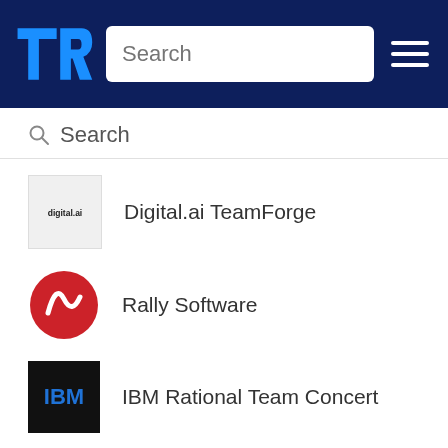[Figure (screenshot): TrustRadius website header with logo, search bar, and hamburger menu on dark blue background]
Search
Digital.ai TeamForge
Rally Software
IBM Rational Team Concert
PTC Windchill RV&S
Jira Software
Splunk Enterprise
New Relic